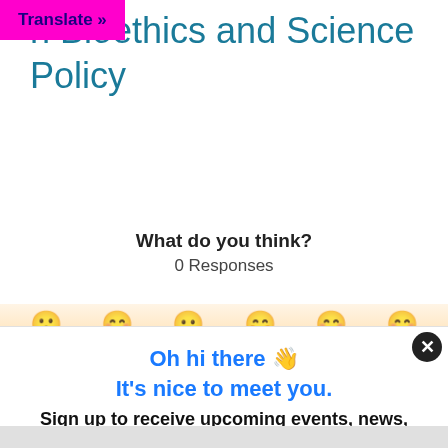Translate »
n Bioethics and Science Policy
What do you think?
0 Responses
[Figure (illustration): Row of emoji reaction icons partially visible in an orange-tinted bar]
Oh hi there 👋
It's nice to meet you.
Sign up to receive upcoming events, news, opportunities and career content in your inbox.